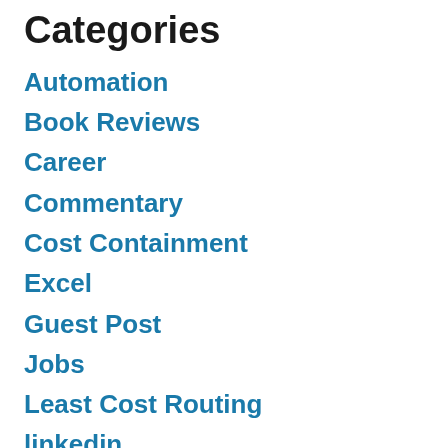Categories
Automation
Book Reviews
Career
Commentary
Cost Containment
Excel
Guest Post
Jobs
Least Cost Routing
linkedin